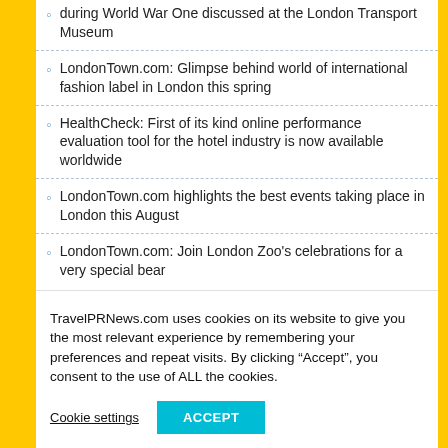during World War One discussed at the London Transport Museum
LondonTown.com: Glimpse behind world of international fashion label in London this spring
HealthCheck: First of its kind online performance evaluation tool for the hotel industry is now available worldwide
LondonTown.com highlights the best events taking place in London this August
LondonTown.com: Join London Zoo's celebrations for a very special bear
TravelPRNews.com uses cookies on its website to give you the most relevant experience by remembering your preferences and repeat visits. By clicking “Accept”, you consent to the use of ALL the cookies.
Cookie settings
ACCEPT